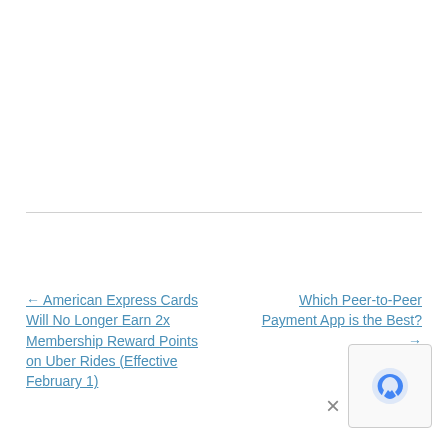← American Express Cards Will No Longer Earn 2x Membership Reward Points on Uber Rides (Effective February 1)
Which Peer-to-Peer Payment App is the Best? →